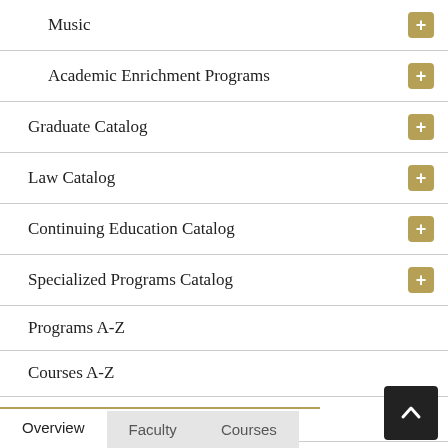Music
Academic Enrichment Programs
Graduate Catalog
Law Catalog
Continuing Education Catalog
Specialized Programs Catalog
Programs A-Z
Courses A-Z
Faculty A-Z
Archive
Search Classes